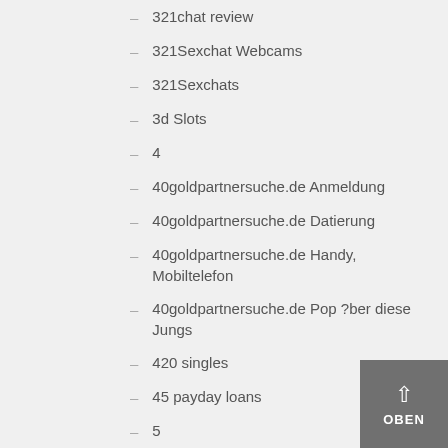– 321chat review
– 321Sexchat Webcams
– 321Sexchats
– 3d Slots
– 4
– 40goldpartnersuche.de Anmeldung
– 40goldpartnersuche.de Datierung
– 40goldpartnersuche.de Handy, Mobiltelefon
– 40goldpartnersuche.de Pop ?ber diese Jungs
– 420 singles
– 45 payday loans
– 5